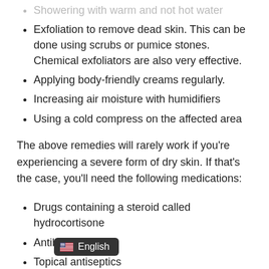Showering with warm and not hot water
Exfoliation to remove dead skin. This can be done using scrubs or pumice stones. Chemical exfoliators are also very effective.
Applying body-friendly creams regularly.
Increasing air moisture with humidifiers
Using a cold compress on the affected area
The above remedies will rarely work if you're experiencing a severe form of dry skin. If that's the case, you'll need the following medications:
Drugs containing a steroid called hydrocortisone
Antibiotics
Topical antiseptics
Antihistamines
lications, i.e., medical creams